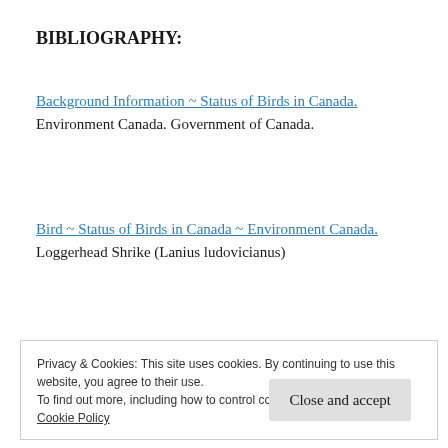BIBLIOGRAPHY:
Background Information ~ Status of Birds in Canada. Environment Canada. Government of Canada.
Bird ~ Status of Birds in Canada ~ Environment Canada. Loggerhead Shrike (Lanius ludovicianus)
Privacy & Cookies: This site uses cookies. By continuing to use this website, you agree to their use.
To find out more, including how to control cookies, see here:
Cookie Policy
Close and accept